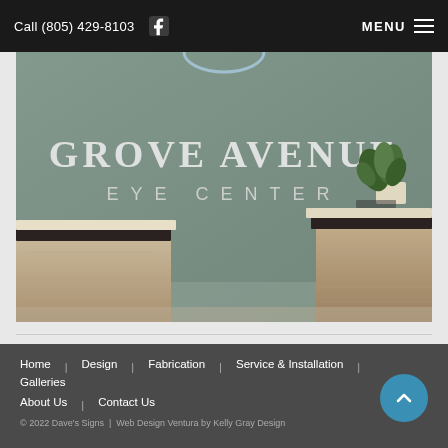Call (805) 429-8103   MENU
[Figure (photo): Interior photo of Grove Avenue Eye Center reception area showing a teal/sage green wall with 'Grove Avenue Eye Center' silver lettering, two reception desk counters with stone/granite bases, and a plant in the background.]
Home | Design | Fabrication | Service & Installation | Galleries | About Us | Contact Us
© 2022 Dave's Signs  |  Web Design Ventura by Kelly Gray Design